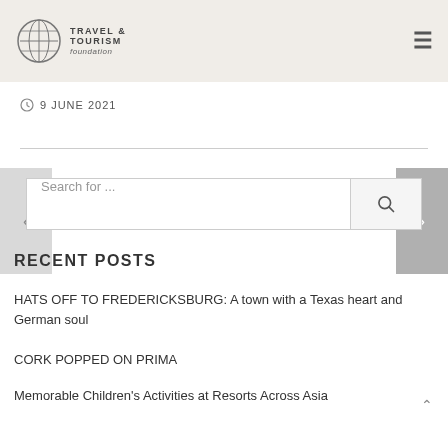Travel & Tourism Foundation
9 JUNE 2021
RECENT POSTS
HATS OFF TO FREDERICKSBURG: A town with a Texas heart and German soul
CORK POPPED ON PRIMA
Memorable Children's Activities at Resorts Across Asia